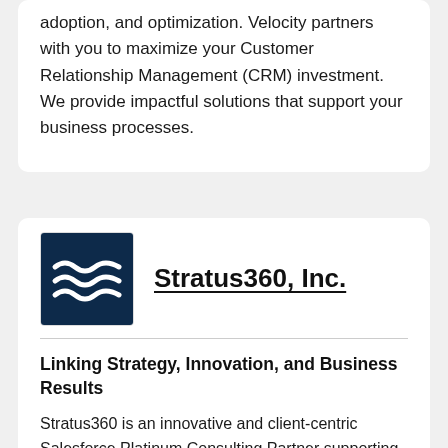adoption, and optimization. Velocity partners with you to maximize your Customer Relationship Management (CRM) investment. We provide impactful solutions that support your business processes.
[Figure (logo): Stratus360, Inc. company logo — dark navy blue square background with a white stylized wave/flag icon]
Stratus360, Inc.
Linking Strategy, Innovation, and Business Results
Stratus360 is an innovative and client-centric Salesforce Platinum Consulting Partner supporting clients worldwide. Our client solutions include implementations, advisory, and